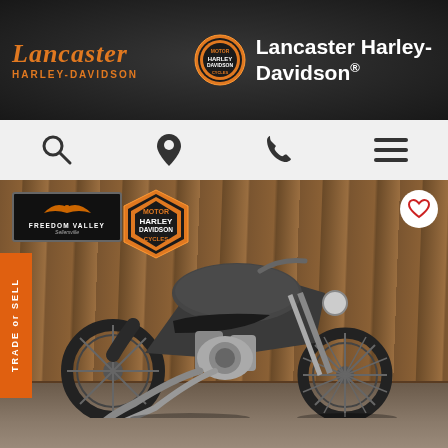[Figure (logo): Lancaster Harley-Davidson logo with script Lancaster text in orange, HARLEY-DAVIDSON in orange block letters, and Harley-Davidson Motor Cycles badge]
Lancaster Harley-Davidson®
[Figure (infographic): Navigation bar with search, location pin, phone, and hamburger menu icons]
[Figure (photo): Dark matte grey Harley-Davidson Iron 883 Sportster motorcycle parked in a showroom with wood plank wall background. Freedom Valley Sellersville and Harley-Davidson Motor Cycles dealer badges visible on wall. Heart/favorite button in top right corner. Trade or Sell orange banner on left edge.]